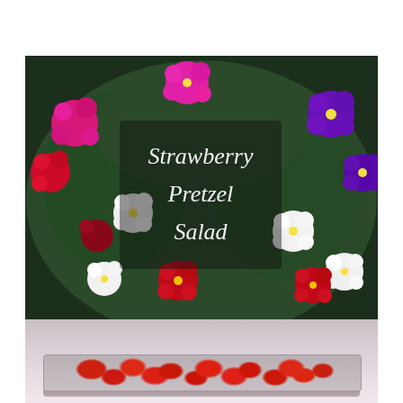[Figure (photo): A colorful display of flowers (pink, red, white, purple petunias on dark background) with a dark semi-transparent overlay in the center showing the text 'Strawberry Pretzel Salad' in white cursive/script font. In the lower portion of the image is a rectangular plastic tray/dish containing sliced strawberries, set against a light pink blurred background.]